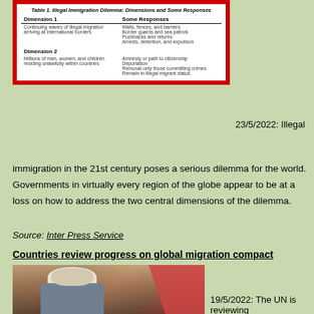| Dimension 1 | Some Responses |
| --- | --- |
| Continuing waves of illegal migration arriving at international borders | Walls, fences, and barriers.
Border guards and sea patrols
Pushbacks and returns
Arrests, detention, and expulsion |
| Dimension 2 |  |
| Millions of men, women, and children residing unlawfully within countries | Amnesty or path to citizenship
Deportation
Removal only those committing crimes
Remain in illegal migrant status |
23/5/2022: Illegal
immigration in the 21st century poses a serious dilemma for the world. Governments in virtually every region of the globe appear to be at a loss on how to address the two central dimensions of the dilemma.
Source: Inter Press Service
Countries review progress on global migration compact
[Figure (photo): Photo of a person wearing a white head covering, with a red tent/fabric in the background]
19/5/2022: The UN is reviewing